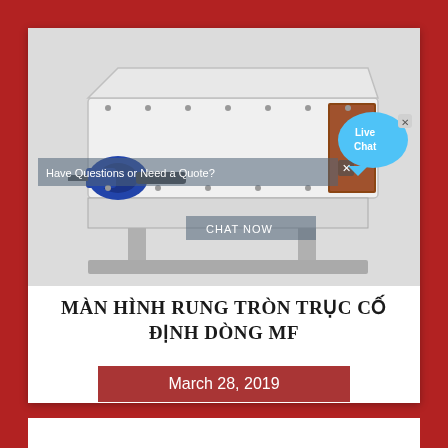[Figure (photo): Industrial vibrating screen machine (MF series) with white body, blue motor, and brown discharge opening, shown against a light gray background. Overlaid with a semi-transparent banner reading 'Have Questions or Need a Quote?' and a 'Live Chat' speech bubble in blue on the upper right. A 'CHAT NOW' bar overlay appears at the bottom of the image.]
MÀN HÌNH RUNG TRÒN TRỤC CỐ ĐỊNH DÒNG MF
March 28, 2019